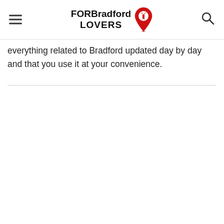FOR Bradford LOVERS
everything related to Bradford updated day by day and that you use it at your convenience.